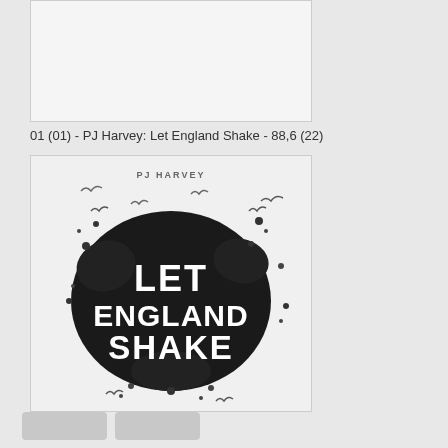[Figure (other): Blank/white image placeholder area at top]
01 (01) - PJ Harvey: Let England Shake - 88,6 (22)
[Figure (photo): Album cover for PJ Harvey: Let England Shake. Black and white photo showing a dark explosive splash/burst shape with text 'LET ENGLAND SHAKE' in white letters. Artist name 'PJ HARVEY' appears at top.]